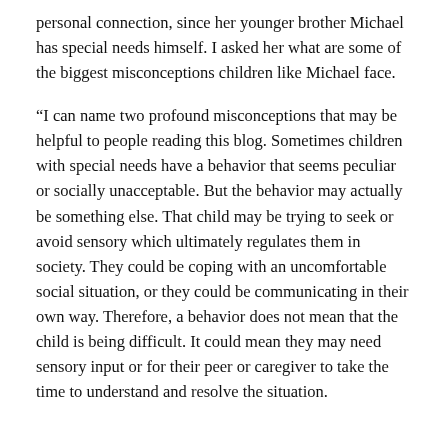personal connection, since her younger brother Michael has special needs himself. I asked her what are some of the biggest misconceptions children like Michael face.
“I can name two profound misconceptions that may be helpful to people reading this blog. Sometimes children with special needs have a behavior that seems peculiar or socially unacceptable. But the behavior may actually be something else. That child may be trying to seek or avoid sensory which ultimately regulates them in society. They could be coping with an uncomfortable social situation, or they could be communicating in their own way. Therefore, a behavior does not mean that the child is being difficult. It could mean they may need sensory input or for their peer or caregiver to take the time to understand and resolve the situation.